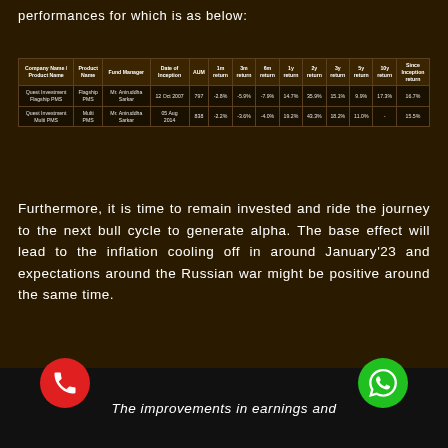performances for which is as below:
| Company Name / Product Name | Product Name | Fund Manager | Date of Inception | AUM | 1m return | 3m return | 6m return | 1y return | 2y return | 3y return | 5y return | 10y return | Since Inception return |
| --- | --- | --- | --- | --- | --- | --- | --- | --- | --- | --- | --- | --- | --- |
| Quest Investment Flagship PMS | Flagship PMS | Mr. Aniruddha Sarkar | 12 Oct 2007 | 797 | -2.8% | -5.9% | -7.9% | 14.7% | 35.9% | 15.1% | 9.9% | 17.3% | 16.7% |
| Quest Investment Multi PMS | Multi PMS | Mr. Aniruddha Sarkar | 05 Aug 2014 | 838 | -2.2% | -3.6% | -4.0% | 19.2% | 43.3% | 18.2% | 11.0% | - | 15.5% |
Furthermore, it is time to remain invested and ride the journey to the next bull cycle to generate alpha. The base effect will lead to the inflation cooling off in around January'23 and expectations around the Russian war might be positive around the same time.
The improvements in earnings and